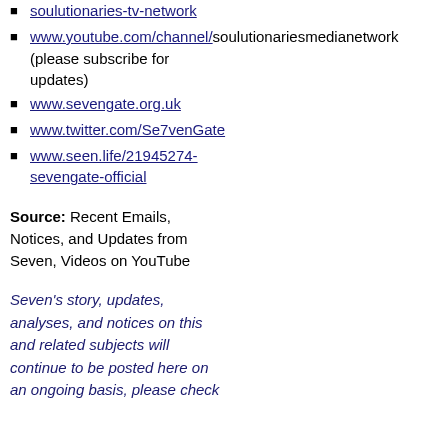soulutionaries-tv-network
www.youtube.com/channel/soulutionariesmedianetwork (please subscribe for updates)
www.sevengate.org.uk
www.twitter.com/Se7venGate
www.seen.life/21945274-sevengate-official
Source: Recent Emails, Notices, and Updates from Seven, Videos on YouTube
Seven's story, updates, analyses, and notices on this and related subjects will continue to be posted here on an ongoing basis, please check